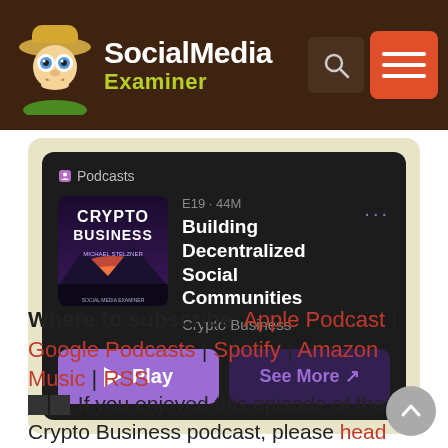[Figure (logo): Social Media Examiner logo with cartoon character wearing safari hat]
[Figure (screenshot): Apple Podcasts embed card showing Crypto Business podcast episode E19 44M titled Building Decentralized Social Communities with Play and See More buttons]
Where to subscribe: Apple Podcast | Google Podcasts | Spotify | Amazon Music | RSS
☑☑ If you enjoyed this episode of the Crypto Business podcast, please head over to Apple Podcasts, leave a rating, write a review, and